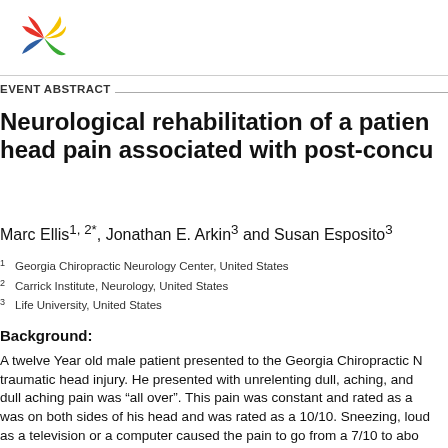[Figure (logo): Colorful windmill/star logo in red, yellow, green, blue]
EVENT ABSTRACT
Neurological rehabilitation of a patient with head pain associated with post-concussion
Marc Ellis1, 2*, Jonathan E. Arkin3 and Susan Esposito3
1 Georgia Chiropractic Neurology Center, United States
2 Carrick Institute, Neurology, United States
3 Life University, United States
Background:
A twelve Year old male patient presented to the Georgia Chiropractic N... traumatic head injury. He presented with unrelenting dull, aching, and dull aching pain was “all over”. This pain was constant and rated as a was on both sides of his head and was rated as a 10/10. Sneezing, loud as a television or a computer caused the pain to go from a 7/10 to abo sensitive, sound sensitive, had stomach pains, vertigo, and blurry visio Bright lights and high media like television described this...